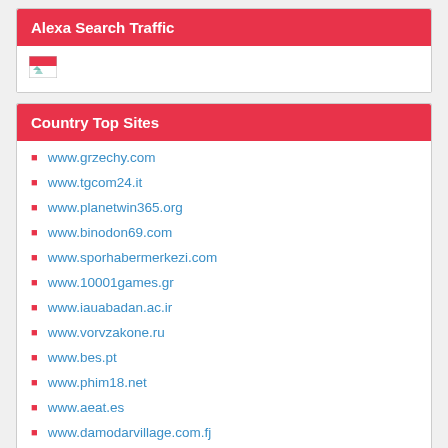Alexa Search Traffic
[Figure (other): Flag image placeholder icon]
Country Top Sites
www.grzechy.com
www.tgcom24.it
www.planetwin365.org
www.binodon69.com
www.sporhabermerkezi.com
www.10001games.gr
www.iauabadan.ac.ir
www.vorvzakone.ru
www.bes.pt
www.phim18.net
www.aeat.es
www.damodarvillage.com.fj
www.mobile.de